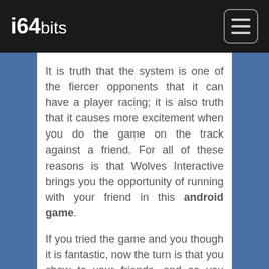i64bits
It is truth that the system is one of the fiercer opponents that it can have a player racing; it is also truth that it causes more excitement when you do the game on the track against a friend. For all of these reasons is that Wolves Interactive brings you the opportunity of running with your friend in this android game.
If you tried the game and you though it is fantastic, now the turn is that you show to your friends, and so you have the opportunity to race in real time with other players.
Although the suggestion is to invite your friends, the unknown people also can start to